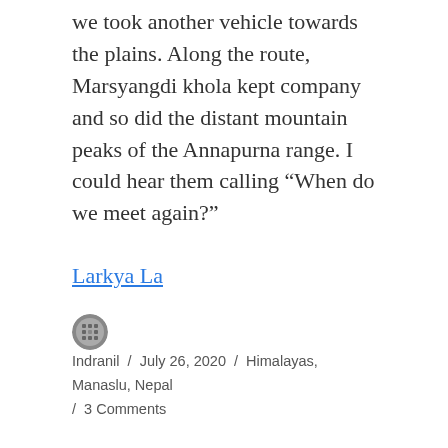we took another vehicle towards the plains. Along the route, Marsyangdi khola kept company and so did the distant mountain peaks of the Annapurna range. I could hear them calling “When do we meet again?”
Larkya La
Indranil / July 26, 2020 / Himalayas, Manaslu, Nepal / 3 Comments
Mountain of the spirit, Manaslu – Larkya La
Dharamsala